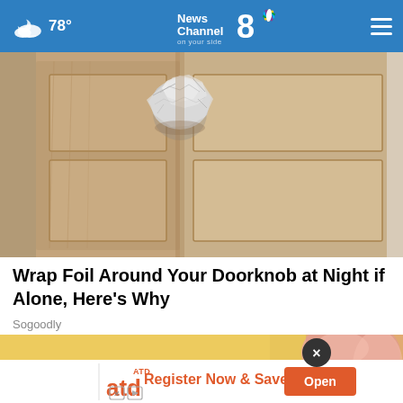78° News Channel 8 on your side
[Figure (photo): Close-up photo of a door knob wrapped in aluminum foil on a wooden interior door]
Wrap Foil Around Your Doorknob at Night if Alone, Here's Why
Sogoodly
[Figure (photo): Photo showing hands with yellow background, partially obscured by an advertisement overlay. Ad shows ATD logo with text 'Register Now & Save' and an orange 'Open' button.]